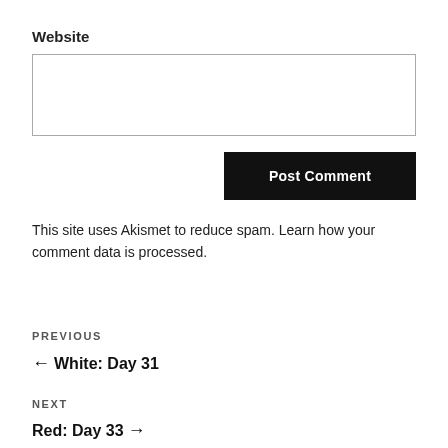Website
Post Comment
This site uses Akismet to reduce spam. Learn how your comment data is processed.
PREVIOUS
← White: Day 31
NEXT
Red: Day 33 →